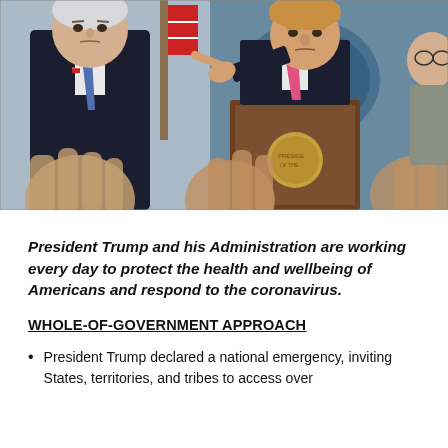[Figure (photo): Press briefing photo showing Vice President Mike Pence on the left in a dark suit with a blue tie, and President Donald Trump on the right behind a podium pointing at the camera wearing a pink tie. There are hands raised in the foreground, and a woman partially visible on the right. The White House seal is visible on the podium.]
President Trump and his Administration are working every day to protect the health and wellbeing of Americans and respond to the coronavirus.
WHOLE-OF-GOVERNMENT APPROACH
President Trump declared a national emergency, inviting States, territories, and tribes to access over